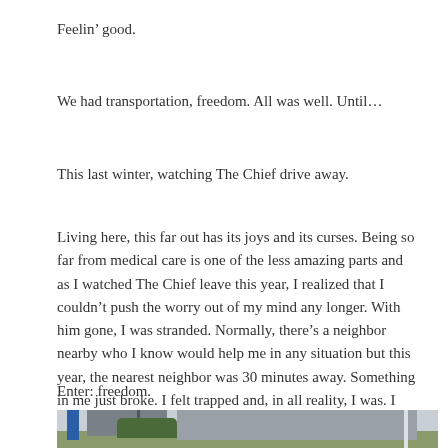Feelin’ good.
We had transportation, freedom. All was well. Until…
This last winter, watching The Chief drive away.
Living here, this far out has its joys and its curses. Being so far from medical care is one of the less amazing parts and as I watched The Chief leave this year, I realized that I couldn’t push the worry out of my mind any longer. With him gone, I was stranded. Normally, there’s a neighbor nearby who I know would help me in any situation but this year, the nearest neighbor was 30 minutes away. Something in me just broke. I felt trapped and, in all reality, I was. I needed freedom.
Enter: freedom.
[Figure (photo): Exterior photo of a commercial building (appears to be a dealership or retail store) with signage, parking lot, trees, and utility poles in the foreground under an overcast sky.]